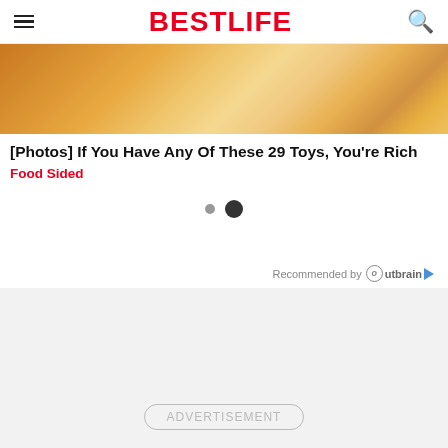BESTLIFE
[Figure (photo): Close-up photo of yellow fabric/clothing with floral pattern]
[Photos] If You Have Any Of These 29 Toys, You're Rich
Food Sided
[Figure (other): Carousel navigation dots - one small grey dot and one larger dark dot]
Recommended by Outbrain
[Figure (other): Advertisement placeholder area with ADVERTISEMENT label]